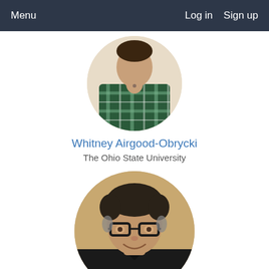Menu  Log in  Sign up
[Figure (photo): Circular profile photo of Whitney Airgood-Obrycki wearing a plaid shirt, cropped at top of frame]
Whitney Airgood-Obrycki
The Ohio State University
[Figure (photo): Circular profile photo of Josh Akers, a man with dark wavy hair and glasses, smiling, wearing a dark shirt]
Josh Akers
UM-Dearborn